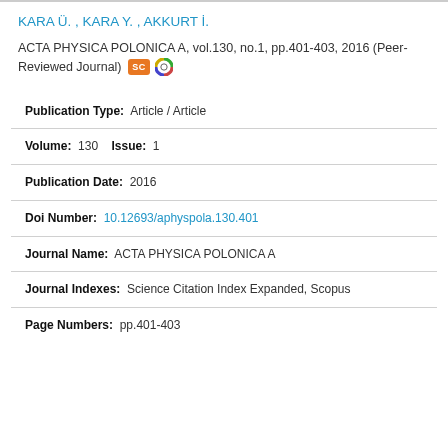KARA Ü. , KARA Y. , AKKURT İ.
ACTA PHYSICA POLONICA A, vol.130, no.1, pp.401-403, 2016 (Peer-Reviewed Journal)
| Publication Type: | Article / Article |
| Volume:  130    Issue: | 1 |
| Publication Date: | 2016 |
| Doi Number: | 10.12693/aphyspola.130.401 |
| Journal Name: | ACTA PHYSICA POLONICA A |
| Journal Indexes: | Science Citation Index Expanded, Scopus |
| Page Numbers: | pp.401-403 |